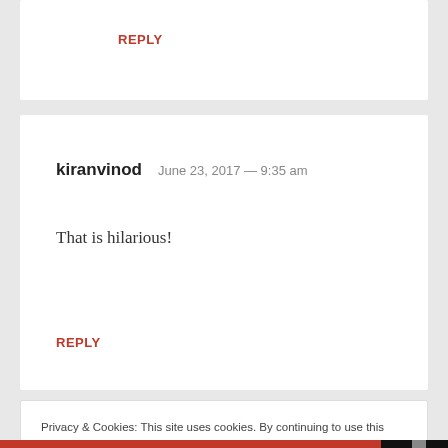REPLY
kiranvinod   June 23, 2017 — 9:35 am
That is hilarious!
REPLY
Privacy & Cookies: This site uses cookies. By continuing to use this website, you agree to their use.
To find out more, including how to control cookies, see here: Cookie Policy
Close and accept